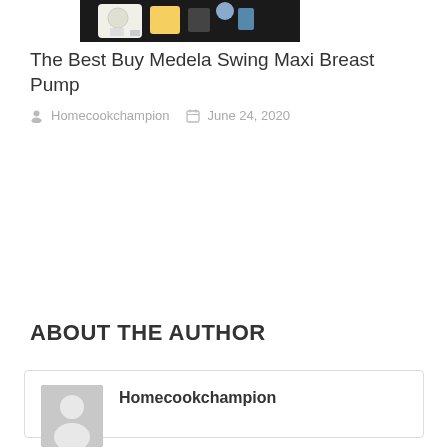[Figure (photo): Product image of Medela Swing Maxi Breast Pump partially visible at top of page]
The Best Buy Medela Swing Maxi Breast Pump
Homecookchampion   June 24, 2020
ABOUT THE AUTHOR
Homecookchampion